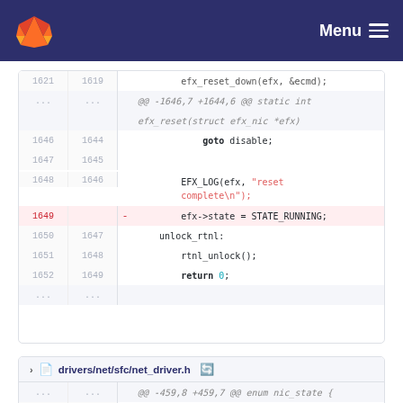Menu
[Figure (screenshot): GitLab code diff view showing two file diffs. First diff shows lines 1621-1652 with a removed line 1649: efx->state = STATE_RUNNING;. Second diff shows drivers/net/sfc/net_driver.h enum nic_state with lines 459-462, line 462 removed: STATE_RESETTING = 3, /*]
@@ -1646,7 +1644,6 @@ static int efx_reset(struct efx_nic *efx)
goto disable;
EFX_LOG(efx, "reset complete\n");
- efx->state = STATE_RUNNING;
unlock_rtnl:
rtnl_unlock();
return 0;
drivers/net/sfc/net_driver.h
@@ -459,8 +459,7 @@ enum nic_state {
STATE_INIT = 0,
STATE_RUNNING = 1,
STATE_FINI = 2,
- STATE_RESETTING = 3, /*